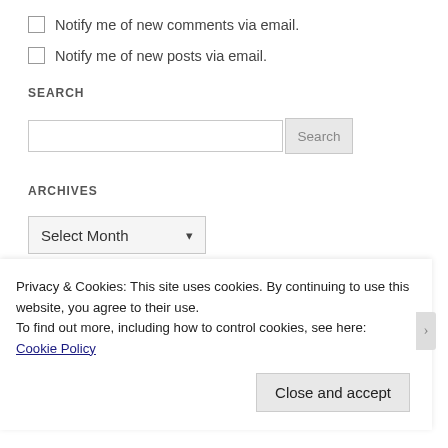Notify me of new comments via email.
Notify me of new posts via email.
SEARCH
Search
ARCHIVES
Select Month
Privacy & Cookies: This site uses cookies. By continuing to use this website, you agree to their use.
To find out more, including how to control cookies, see here: Cookie Policy
Close and accept